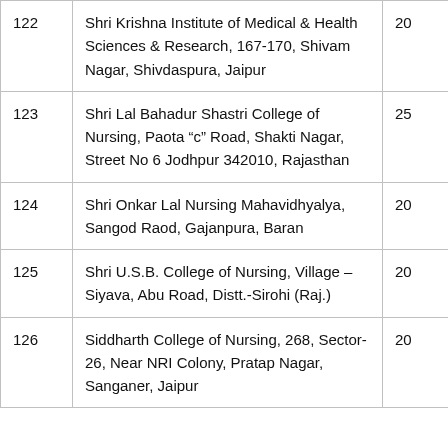| 122 | Shri Krishna Institute of Medical & Health Sciences & Research, 167-170, Shivam Nagar, Shivdaspura, Jaipur | 20 |
| 123 | Shri Lal Bahadur Shastri College of Nursing, Paota “c” Road, Shakti Nagar, Street No 6 Jodhpur 342010, Rajasthan | 25 |
| 124 | Shri Onkar Lal Nursing Mahavidhyalya, Sangod Raod, Gajanpura, Baran | 20 |
| 125 | Shri U.S.B. College of Nursing, Village – Siyava, Abu Road, Distt.-Sirohi (Raj.) | 20 |
| 126 | Siddharth College of Nursing, 268, Sector-26, Near NRI Colony, Pratap Nagar, Sanganer, Jaipur | 20 |